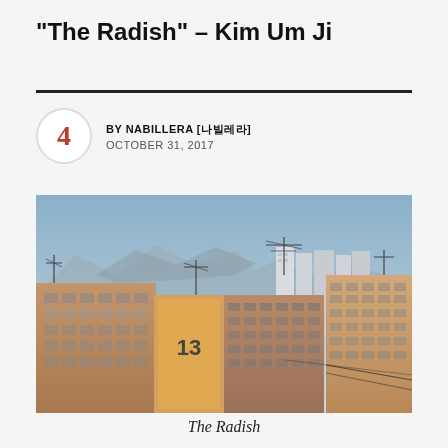“The Radish” – Kim Um Ji
BY NABILLERA [나빌레라] OCTOBER 31, 2017
[Figure (photo): Photograph of Korean apartment buildings (numbered 13) with rooftop antennas, mountains visible in background, taken during daylight with a clear blue sky.]
The Radish